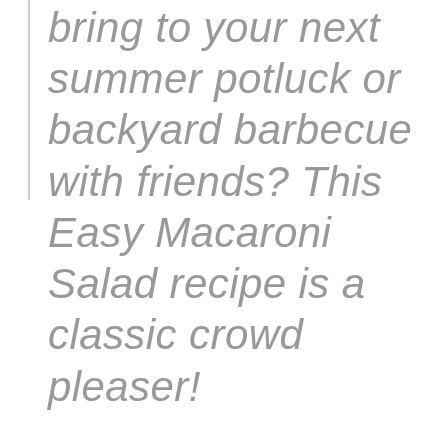bring to your next summer potluck or backyard barbecue with friends? This Easy Macaroni Salad recipe is a classic crowd pleaser!